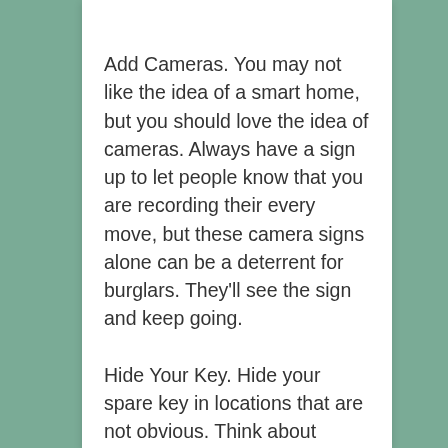Add Cameras. You may not like the idea of a smart home, but you should love the idea of cameras. Always have a sign up to let people know that you are recording their every move, but these camera signs alone can be a deterrent for burglars. They'll see the sign and keep going.
Hide Your Key. Hide your spare key in locations that are not obvious. Think about lockboxes in the garage, or fancy hideaway spots that blend in with the environment.